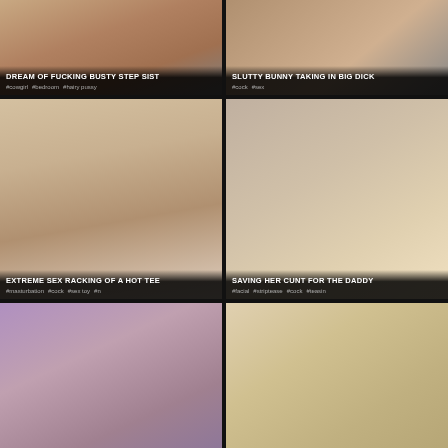[Figure (photo): Video thumbnail - DREAM OF FUCKING BUSTY STEP SIST]
DREAM OF FUCKING BUSTY STEP SIST
#cowgirl #bedroom #hairy pussy
[Figure (photo): Video thumbnail - SLUTTY BUNNY TAKING IN BIG DICK]
SLUTTY BUNNY TAKING IN BIG DICK
#cock #sex
[Figure (photo): Video thumbnail - EXTREME SEX RACKING OF A HOT TEE]
EXTREME SEX RACKING OF A HOT TEE
#masturbation #cock #sex toy #n
[Figure (photo): Video thumbnail - SAVING HER CUNT FOR THE DADDY]
SAVING HER CUNT FOR THE DADDY
#facial #striptease #cock #teasin
[Figure (photo): Video thumbnail - SCHOOLGIRL HAVING LOTS OF FUCKIN]
SCHOOLGIRL HAVING LOTS OF FUCKIN
#ass #pussy #cock #girl #se
[Figure (photo): Video thumbnail - COMPARING THE POWER OF SEX TOYS]
COMPARING THE POWER OF SEX TOYS
#petite #blond #cock #teasing
[Figure (photo): Video thumbnail - girl with bunny ears]
ONE HARD COCK AND TWO SLUTS RES
#anal #hardcore #double blowjob